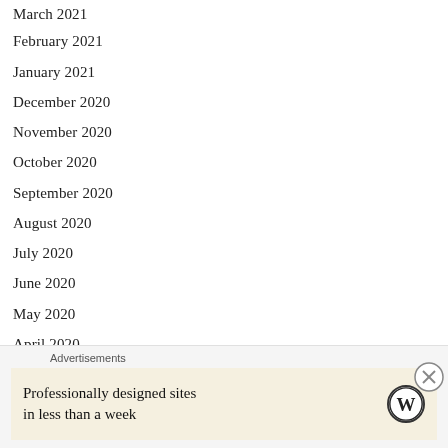March 2021
February 2021
January 2021
December 2020
November 2020
October 2020
September 2020
August 2020
July 2020
June 2020
May 2020
April 2020
March 2020
February 2020
January 2020
Advertisements
Professionally designed sites in less than a week